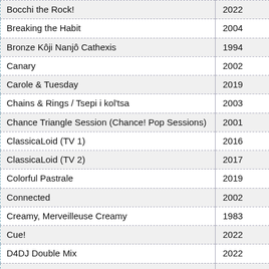| Title | Year |
| --- | --- |
| Bocchi the Rock! | 2022 |
| Breaking the Habit | 2004 |
| Bronze Kôji Nanjô Cathexis | 1994 |
| Canary | 2002 |
| Carole & Tuesday | 2019 |
| Chains & Rings / Tsepi i kol'tsa | 2003 |
| Chance Triangle Session (Chance! Pop Sessions) | 2001 |
| ClassicaLoid (TV 1) | 2016 |
| ClassicaLoid (TV 2) | 2017 |
| Colorful Pastrale | 2019 |
| Connected | 2002 |
| Creamy, Merveilleuse Creamy | 1983 |
| Cue! | 2022 |
| D4DJ Double Mix | 2022 |
| D4DJ First Mix | 2020 |
| Dance With Devils | 2015 |
| Deemo - Memorial Keys | 2022 |
| Détective Conan - Film 12 - La Mélodie de la Peur | 2008 |